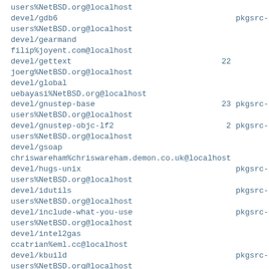users%NetBSD.org@localhost
devel/gdb6                                          pkgsrc-
users%NetBSD.org@localhost
devel/gearmand
filip%joyent.com@localhost
devel/gettext                                    22
joerg%NetBSD.org@localhost
devel/global
uebayasi%NetBSD.org@localhost
devel/gnustep-base                               23 pkgsrc-
users%NetBSD.org@localhost
devel/gnustep-objc-lf2                            2 pkgsrc-
users%NetBSD.org@localhost
devel/gsoap
chriswareham%chriswareham.demon.co.uk@localhost
devel/hugs-unix                                     pkgsrc-
users%NetBSD.org@localhost
devel/idutils                                       pkgsrc-
users%NetBSD.org@localhost
devel/include-what-you-use                          pkgsrc-
users%NetBSD.org@localhost
devel/intel2gas
ccatrian%eml.cc@localhost
devel/kbuild                                        pkgsrc-
users%NetBSD.org@localhost
devel/kdoctools                                  35
markd%NetBSD.org@localhost
devel/ldapsdk                                     1 pkgsrc-
users%NetBSD.org@localhost
devel/libbinio                                    2